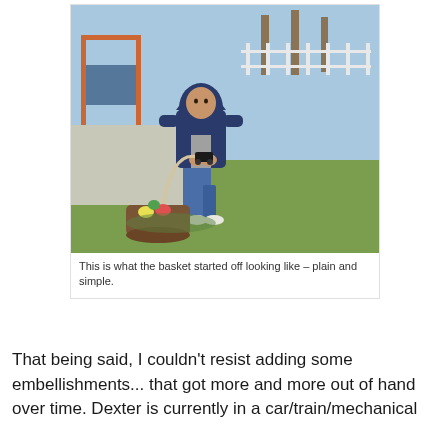[Figure (photo): A toddler wearing a navy blue hoodie and jeans, standing on grass, holding up a woven Easter basket containing colored eggs. A playground and white fence are visible in the background.]
This is what the basket started off looking like – plain and simple.
That being said, I couldn't resist adding some embellishments... that got more and more out of hand over time. Dexter is currently in a car/train/mechanical